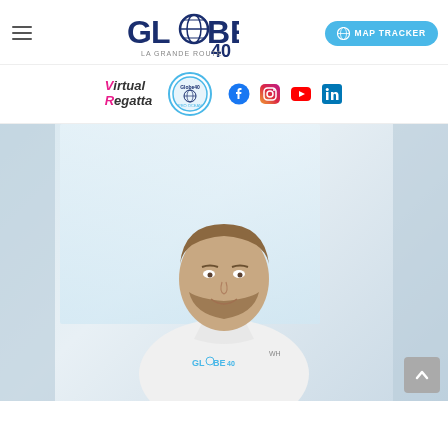Globe40 website navigation header with logo, hamburger menu, and MAP TRACKER button
[Figure (logo): Globe40 logo - GLOBE text with globe icon replacing O, with 40 subscript and 'La Grande Route' tagline]
[Figure (logo): Virtual Regatta logo in pink/dark italic text]
[Figure (logo): Globe40 Pro-Ocean circular badge logo]
[Figure (photo): Portrait photo of a bearded man smiling, wearing a white Globe40 polo shirt with sponsor logo, light background]